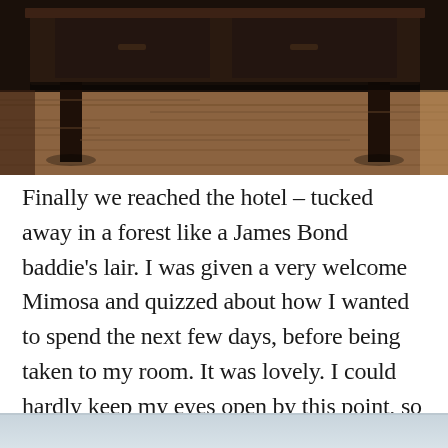[Figure (photo): Dark wooden furniture (dresser or table) with legs on a wooden floor, viewed from a low angle. Dark interior room.]
Finally we reached the hotel – tucked away in a forest like a James Bond baddie's lair. I was given a very welcome Mimosa and quizzed about how I wanted to spend the next few days, before being taken to my room. It was lovely. I could hardly keep my eyes open by this point, so after half-heartedly pulling some stuff out of my bag, I lay down for a sleep for an hour, then got showered and dressed for dinner.
[Figure (photo): Bottom portion of a photo showing a light blue-grey sky or misty background.]